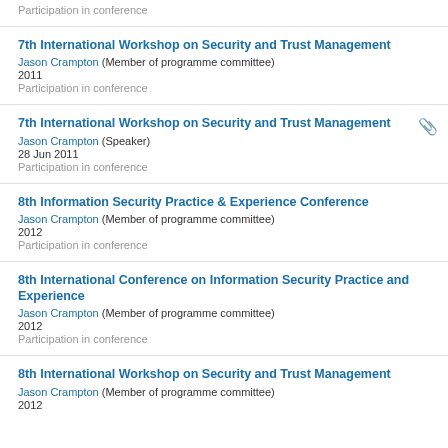Participation in conference
7th International Workshop on Security and Trust Management
Jason Crampton (Member of programme committee)
2011
Participation in conference
7th International Workshop on Security and Trust Management
Jason Crampton (Speaker)
28 Jun 2011
Participation in conference
8th Information Security Practice & Experience Conference
Jason Crampton (Member of programme committee)
2012
Participation in conference
8th International Conference on Information Security Practice and Experience
Jason Crampton (Member of programme committee)
2012
Participation in conference
8th International Workshop on Security and Trust Management
Jason Crampton (Member of programme committee)
2012